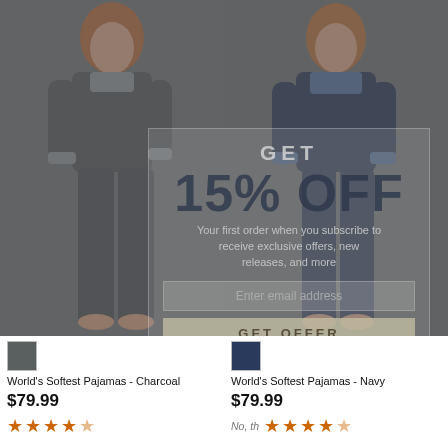[Figure (photo): Two women modeling pajama sets: left model in charcoal/gray World's Softest Pajamas, right model in navy World's Softest Pajamas, with a partially visible email subscription popup overlay showing GET 15% OFF promotional modal]
GET
15% OFF
Your first order when you subscribe to receive exclusive offers, new releases, and more
Enter email address
GET OFFER
World's Softest Pajamas - Charcoal
$79.99
World's Softest Pajamas - Navy
$79.99
No, thank